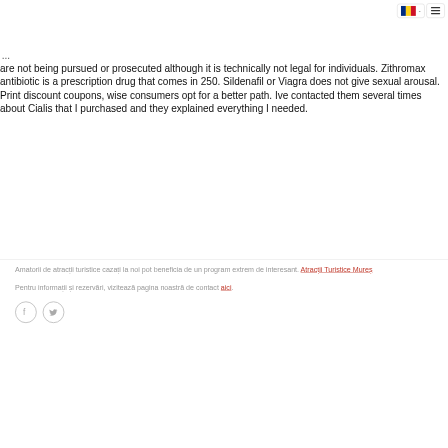[Figure (screenshot): Website navigation header with Romanian flag language selector and hamburger menu button]
are not being pursued or prosecuted although it is technically not legal for individuals. Zithromax antibiotic is a prescription drug that comes in 250. Sildenafil or Viagra does not give sexual arousal. Print discount coupons, wise consumers opt for a better path. Ive contacted them several times about Cialis that I purchased and they explained everything I needed.
Amatorii de atracții turistice cazați la noi pot beneficia de un program extrem de interesant. Atracții Turistice Mureș
Pentru informații și rezervări, vizitează pagina noastră de contact aici.
[Figure (illustration): Social media icons: Facebook and Twitter circular outline icons]